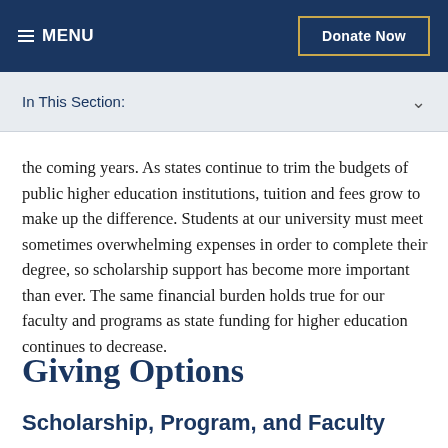≡ MENU    Donate Now
In This Section:
the coming years. As states continue to trim the budgets of public higher education institutions, tuition and fees grow to make up the difference. Students at our university must meet sometimes overwhelming expenses in order to complete their degree, so scholarship support has become more important than ever. The same financial burden holds true for our faculty and programs as state funding for higher education continues to decrease.
Giving Options
Scholarship, Program, and Faculty